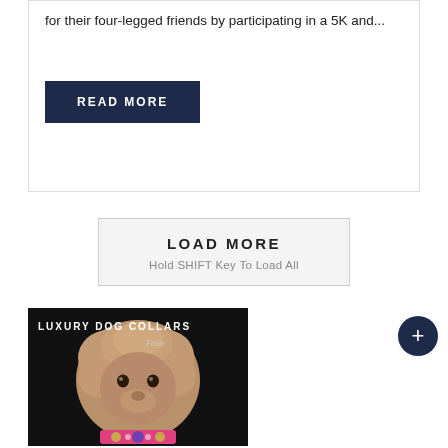for their four-legged friends by participating in a 5K and...
READ MORE
LOAD MORE
Hold SHIFT Key To Load All
[Figure (photo): Advertisement image for Luxury Dog Collars Petite featuring a fluffy light-brown/apricot poodle or doodle dog wearing a decorative pink collar with jeweled embellishments, photographed against a black background. Text overlay reads 'LUXURY DOG COLLARS' and 'Petite' in cursive.]